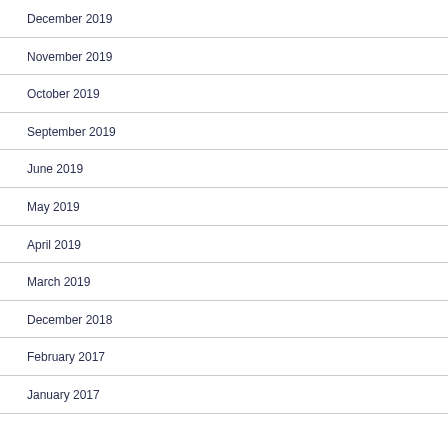December 2019
November 2019
October 2019
September 2019
June 2019
May 2019
April 2019
March 2019
December 2018
February 2017
January 2017